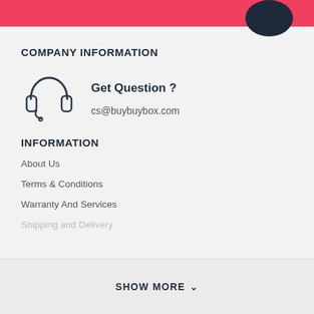COMPANY INFORMATION
[Figure (illustration): Headset/customer service icon — outline drawing of headphones with microphone]
Get Question ?
cs@buybuybox.com
INFORMATION
About Us
Terms & Conditions
Warranty And Services
Shipping and Delivery
SHOW MORE